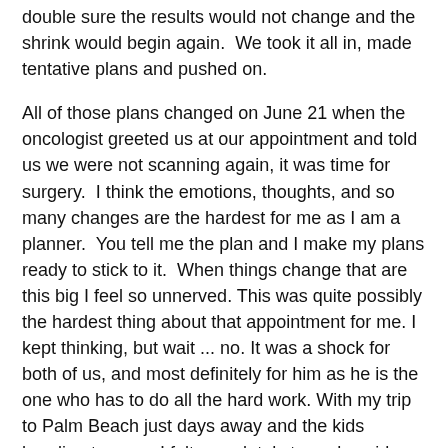double sure the results would not change and the shrink would begin again.  We took it all in, made tentative plans and pushed on.
All of those plans changed on June 21 when the oncologist greeted us at our appointment and told us we were not scanning again, it was time for surgery.  I think the emotions, thoughts, and so many changes are the hardest for me as I am a planner.  You tell me the plan and I make my plans ready to stick to it.  When things change that are this big I feel so unnerved. This was quite possibly the hardest thing about that appointment for me. I kept thinking, but wait ... no. It was a shock for both of us, and most definitely for him as he is the one who has to do all the hard work. With my trip to Palm Beach just days away and the kids heading to camp I felt completely turned upside down.  We made the arrangements to see the surgeon, my husband worked out his work schedule (basically 24/7 up to surgery) and I sent the kids to camp and me to Palm Beach.
We met with our surgeon on July 3 and set the date for surgery for August 6, tomorrow! Without sharing details that